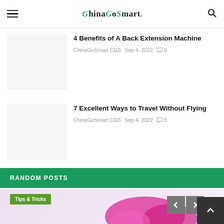ChinaGoSmart.
4 Benefits of A Back Extension Machine
ChinaGoSmart CGS  Sep 4, 2022  0
7 Excellent Ways to Travel Without Flying
ChinaGoSmart CGS  Sep 4, 2022  0
RANDOM POSTS
[Figure (photo): Tips & Tricks category image with pink/magenta decorative element on light purple background]
Tips & Tricks